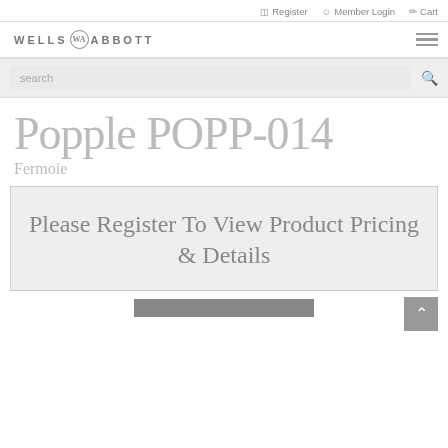Register | Member Login | Cart
[Figure (logo): Wells Abbott logo with WA monogram circle]
search
Popple POPP-014
Fermoie
Please Register To View Product Pricing & Details